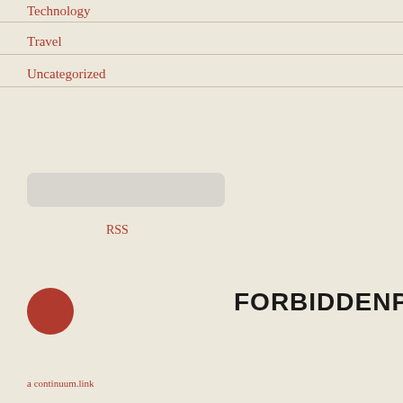Technology
Travel
Uncategorized
[Figure (other): Search input box (rounded rectangle, light grey)]
RSS
[Figure (logo): ForbiddenPC logo: dark red circle on left, bold uppercase text FORBIDDENPC on right]
a continuum.link